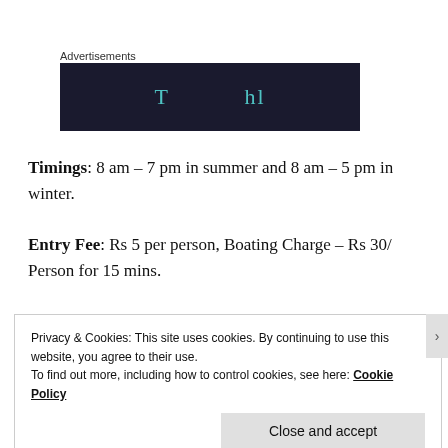Advertisements
[Figure (other): Dark advertisement banner with teal/cyan text partially visible]
Timings: 8 am – 7 pm in summer and 8 am – 5 pm in winter.
Entry Fee: Rs 5 per person, Boating Charge – Rs 30/ Person for 15 mins.
Privacy & Cookies: This site uses cookies. By continuing to use this website, you agree to their use.
To find out more, including how to control cookies, see here: Cookie Policy
Close and accept